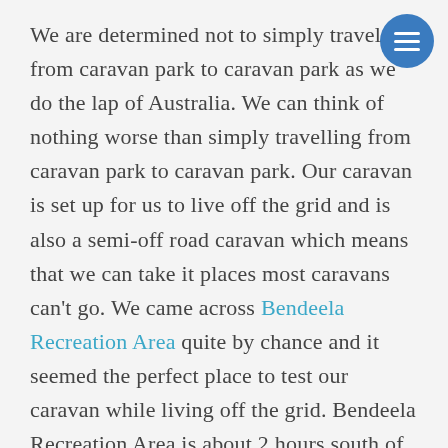We are determined not to simply travel from caravan park to caravan park as we do the lap of Australia. We can think of nothing worse than simply travelling from caravan park to caravan park. Our caravan is set up for us to live off the grid and is also a semi-off road caravan which means that we can take it places most caravans can't go. We came across Bendeela Recreation Area quite by chance and it seemed the perfect place to test our caravan while living off the grid. Bendeela Recreation Area is about 2 hours south of Sydney on the banks of the Kangaroo River. The area is maintained by NSW Water and is effectively a free camping area. It would be our first experience living off the grid in the caravan. Getting to Bendeela was an interesting experience but one of our own making and you can